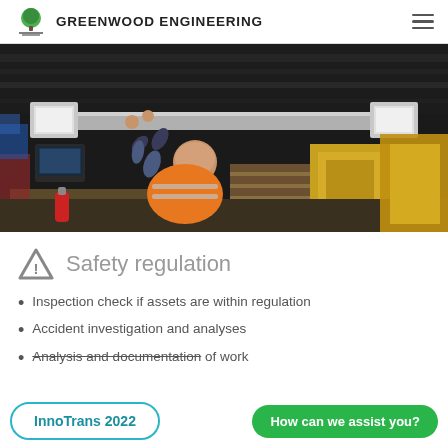GREENWOOD ENGINEERING
[Figure (photo): A maintenance worker in an orange high-visibility vest working underneath a rail vehicle, adjusting equipment attached to the undercarriage in an industrial depot setting.]
Safety regulation
Inspection check if assets are within regulation
Accident investigation and analyses
Analysis and documentation of work